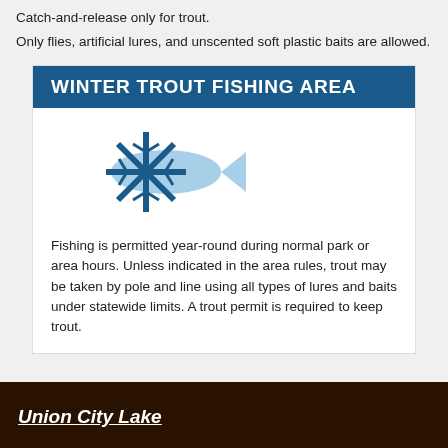Catch-and-release only for trout.
Only flies, artificial lures, and unscented soft plastic baits are allowed.
WINTER TROUT FISHING AREA
[Figure (illustration): Snowflake icon overlaid with a fish silhouette, representing winter trout fishing area]
Fishing is permitted year-round during normal park or area hours. Unless indicated in the area rules, trout may be taken by pole and line using all types of lures and baits under statewide limits. A trout permit is required to keep trout.
Union City Lake